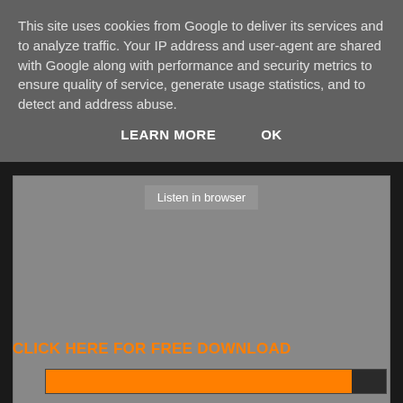This site uses cookies from Google to deliver its services and to analyze traffic. Your IP address and user-agent are shared with Google along with performance and security metrics to ensure quality of service, generate usage statistics, and to detect and address abuse.
LEARN MORE    OK
[Figure (screenshot): Gray media player area with 'Listen in browser' button and 'Privacy policy' label at bottom left]
CLICK HERE FOR FREE DOWNLOAD
[Figure (infographic): Orange progress bar on dark background]
Our buddies over at Free Breaks Blog unearthed this little beauty from back in the day! Breaks legend B.L.I.M. doing